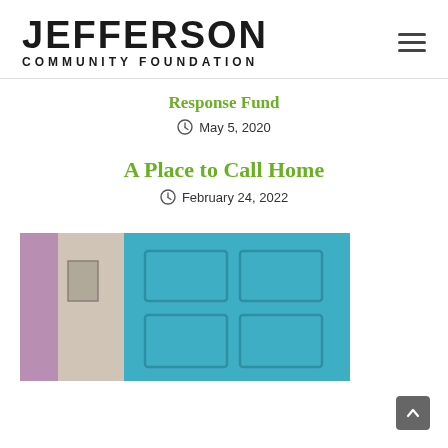JEFFERSON COMMUNITY FOUNDATION
Response Fund
May 5, 2020
A Place to Call Home
February 24, 2022
[Figure (photo): Interior photo showing a teal/turquoise door with a purple wall strip and mirror visible, inside a home.]